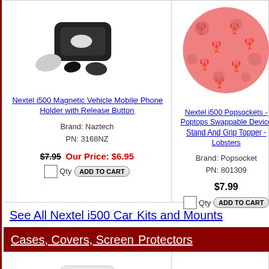[Figure (photo): Nextel i500 magnetic vehicle mobile phone holder with release button - black case with accessories]
Nextel i500 Magnetic Vehicle Mobile Phone Holder with Release Button
Brand: Naztech
PN: 3168NZ
$7.95 Our Price: $6.95
Qty ADD TO CART
[Figure (photo): Nextel i500 Popsockets pink circle with lobster pattern]
Nextel i500 Popsockets - Poptops Swappable Device Stand And Grip Topper - Lobsters
Brand: Popsocket
PN: 801309
$7.99
Qty ADD TO CART
See All Nextel i500 Car Kits and Mounts
Cases, Covers, Screen Protectors
[Figure (photo): Tech Clean wipe package - white package with green label]